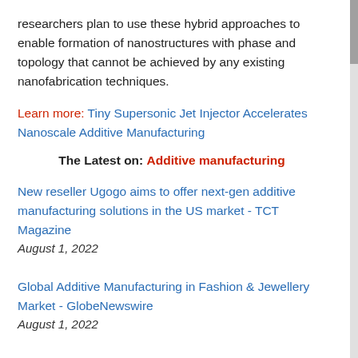researchers plan to use these hybrid approaches to enable formation of nanostructures with phase and topology that cannot be achieved by any existing nanofabrication techniques.
Learn more: Tiny Supersonic Jet Injector Accelerates Nanoscale Additive Manufacturing
The Latest on: Additive manufacturing
New reseller Ugogo aims to offer next-gen additive manufacturing solutions in the US market - TCT Magazine
August 1, 2022
Global Additive Manufacturing in Fashion & Jewellery Market - GlobeNewswire
August 1, 2022